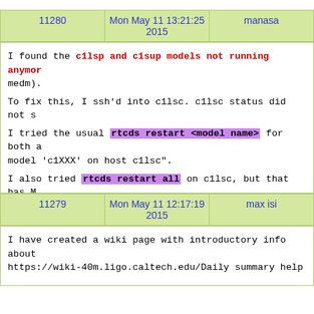| 11280 | Mon May 11 13:21:25 2015 | manasa |
| --- | --- | --- |
I found the c1lsp and c1sup models not running anymore (from medm). To fix this, I ssh'd into c1lsc. c1lsc status did not s... I tried the usual rtcds restart <model name> for both a... model 'c1XXX' on host c1lsc". I also tried rtcds restart all on c1lsc, but that has M... Does anyone know how I can fix this?? c1sup runs some the suspension controls. So I am afraid... arms we see might be related to this.
P.S. We might also want to add the FE status channels to the summary pages.
| 11279 | Mon May 11 12:17:19 2015 | max isi |
| --- | --- | --- |
I have created a wiki page with introductory info about... https://wiki-40m.ligo.caltech.edu/Daily summary help